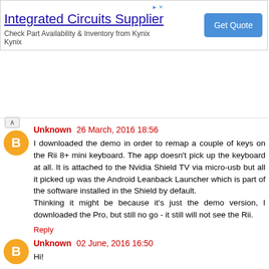[Figure (other): Advertisement banner for Integrated Circuits Supplier by Kynix with Get Quote button]
Unknown 26 March, 2016 18:56
I downloaded the demo in order to remap a couple of keys on the Rii 8+ mini keyboard. The app doesn't pick up the keyboard at all. It is attached to the Nvidia Shield TV via micro-usb but all it picked up was the Android Leanback Launcher which is part of the software installed in the Shield by default.
Thinking it might be because it's just the demo version, I downloaded the Pro, but still no go - it still will not see the Rii.
Reply
Unknown 02 June, 2016 16:50
Hi!